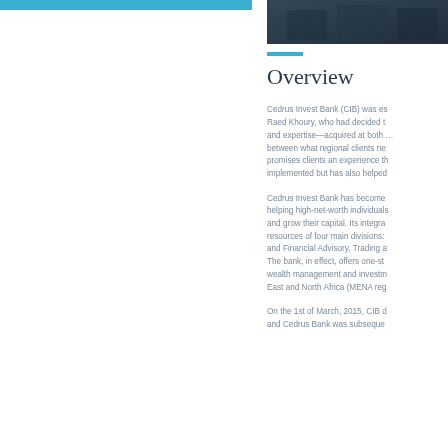[Figure (photo): Dark photograph in upper right corner, appears to be a building or architectural image]
Overview
Cedrus Invest Bank (CIB) was established by Raed Khoury, who had decided to use his vision and expertise—acquired at both … between what regional clients needed and promises clients an experience that … implemented but has also helped…
Cedrus Invest Bank has become … helping high-net-worth individuals … and grow their capital. Its integrated … resources of four main divisions: … and Financial Advisory, Trading a… The bank, in effect, offers one-st… wealth management and investm… East and North Africa (MENA reg…
On the 1st of March, 2015, CIB d… and Cedrus Bank was subseque…